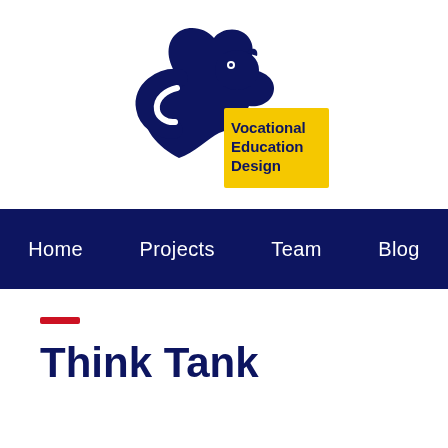[Figure (logo): Skunk mascot logo with yellow rectangle reading 'Vocational Education Design' in dark navy text]
Home   Projects   Team   Blog
Think Tank